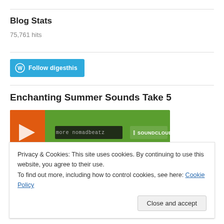Blog Stats
75,761 hits
[Figure (other): Follow digesthis button with WordPress logo on teal background]
Enchanting Summer Sounds Take 5
[Figure (screenshot): SoundCloud embedded player showing 'more nomadbeatz' with orange and green background]
Privacy & Cookies: This site uses cookies. By continuing to use this website, you agree to their use.
To find out more, including how to control cookies, see here: Cookie Policy
Close and accept